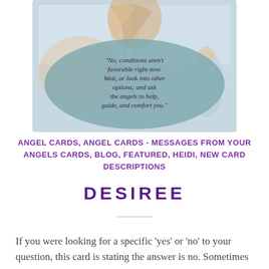[Figure (illustration): Angel card illustration showing two angels with a teal/blue oval banner containing italic text: "No, conditions aren't favorable right now. Wait, or look into other options; and ask the angels to help, guide, and comfort you."]
ANGEL CARDS, ANGEL CARDS - MESSAGES FROM YOUR ANGELS CARDS, BLOG, FEATURED, HEIDI, NEW CARD DESCRIPTIONS
DESIREE
If you were looking for a specific 'yes' or 'no' to your question, this card is stating the answer is no. Sometimes it is in our best interest not to